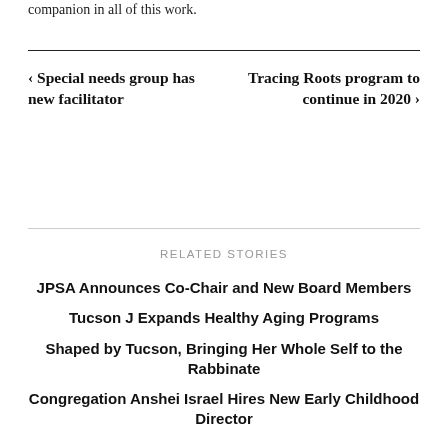companion in all of this work.
‹ Special needs group has new facilitator
Tracing Roots program to continue in 2020 ›
RELATED STORIES
JPSA Announces Co-Chair and New Board Members
Tucson J Expands Healthy Aging Programs
Shaped by Tucson, Bringing Her Whole Self to the Rabbinate
Congregation Anshei Israel Hires New Early Childhood Director